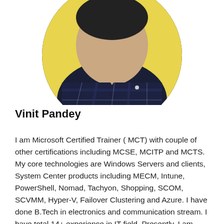[Figure (photo): Circular cropped headshot photo of Vinit Pandey wearing a dark plaid shirt, partially visible from shoulders up, with yellow background visible at top left]
Vinit Pandey
I am Microsoft Certified Trainer ( MCT) with couple of other certifications including MCSE, MCITP and MCTS. My core technologies are Windows Servers and clients, System Center products including MECM, Intune, PowerShell, Nomad, Tachyon, Shopping, SCOM, SCVMM, Hyper-V, Failover Clustering and Azure. I have done B.Tech in electronics and communication stream. I have total 14+ experience in IT field. Presently, I am working with HCL Technologies as Architect for EUC products. My job includes transition, transformation